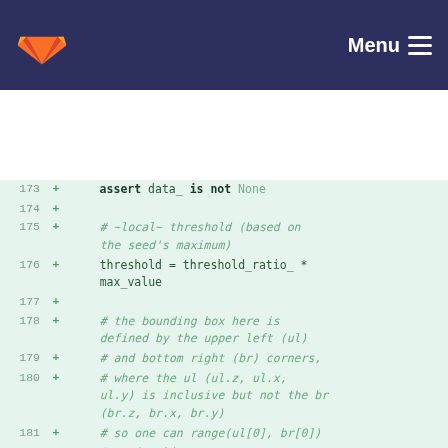GitLab navbar with logo and Menu button
173 +     assert data_ is not None
174 +
175 +     # ~local~ threshold (based on the seed's maximum)
176 +     threshold = threshold_ratio_ * max_value
177 +
178 +     # the bounding box here is defined by the upper left (ul)
179 +     # and bottom right (br) corners,
180 +     # where the ul (ul.z, ul.x, ul.y) is inclusive but not the br (br.z, br.x, br.y)
181 +     # so one can range(ul[0], br[0])
182 +     # as in skimage
183 +     # 3D: i use 3 axes here but the naming is based on the 2D case ("upper left"...)
184 +     max_roi = np.stack(
185 +         [abs max position -